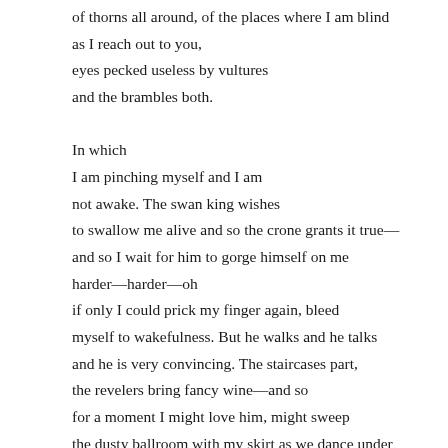of thorns all around, of the places where I am blind
as I reach out to you,
eyes pecked useless by vultures
and the brambles both.

In which
I am pinching myself and I am
not awake. The swan king wishes
to swallow me alive and so the crone grants it true—
and so I wait for him to gorge himself on me
harder—harder—oh
if only I could prick my finger again, bleed
myself to wakefulness. But he walks and he talks
and he is very convincing. The staircases part,
the revelers bring fancy wine—and so
for a moment I might love him, might sweep
the dusty ballroom with my skirt as we dance under
plastic chandeliers. Dawning beauty: pink eyes, blue veins,
my trembling limbs in Odile's pas de deux. He handles